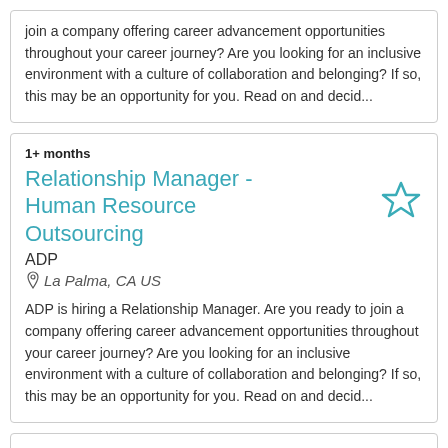ADP is hiring a Relationship Manager. Are you ready to join a company offering career advancement opportunities throughout your career journey? Are you looking for an inclusive environment with a culture of collaboration and belonging? If so, this may be an opportunity for you. Read on and decid...
1+ months
Relationship Manager - Human Resource Outsourcing
ADP
La Palma, CA US
ADP is hiring a Relationship Manager. Are you ready to join a company offering career advancement opportunities throughout your career journey? Are you looking for an inclusive environment with a culture of collaboration and belonging? If so, this may be an opportunity for you. Read on and decid...
1+ months